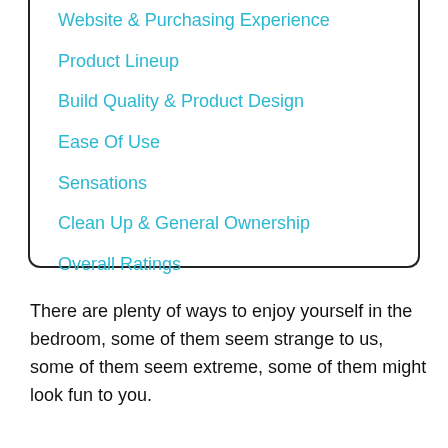Website & Purchasing Experience
Product Lineup
Build Quality & Product Design
Ease Of Use
Sensations
Clean Up & General Ownership
Overall Ratings
There are plenty of ways to enjoy yourself in the bedroom, some of them seem strange to us, some of them seem extreme, some of them might look fun to you.